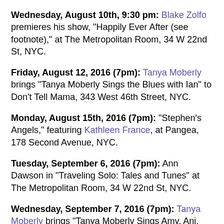Wednesday, August 10th, 9:30 pm: Blake Zolfo premieres his show, "Happily Ever After (see footnote)," at The Metropolitan Room, 34 W 22nd St, NYC.
Friday, August 12, 2016 (7pm): Tanya Moberly brings "Tanya Moberly Sings the Blues with Ian" to Don't Tell Mama, 343 West 46th Street, NYC.
Monday, August 15th, 2016 (7pm): "Stephen's Angels," featuring Kathleen France, at Pangea, 178 Second Avenue, NYC.
Tuesday, September 6, 2016 (7pm): Ann Dawson in "Traveling Solo: Tales and Tunes" at The Metropolitan Room, 34 W 22nd St, NYC.
Wednesday, September 7, 2016 (7pm): Tanya Moberly brings "Tanya Moberly Sings Amy, Ani, Ricki, Joni with Pitti" to Don't Tell Mama, 343 West